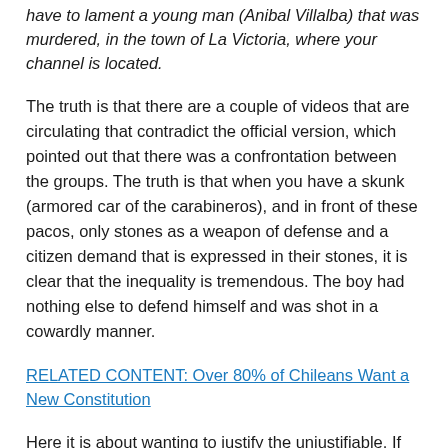have to lament a young man (Anibal Villalba) that was murdered, in the town of La Victoria, where your channel is located.
The truth is that there are a couple of videos that are circulating that contradict the official version, which pointed out that there was a confrontation between the groups. The truth is that when you have a skunk (armored car of the carabineros), and in front of these pacos, only stones as a weapon of defense and a citizen demand that is expressed in their stones, it is clear that the inequality is tremendous. The boy had nothing else to defend himself and was shot in a cowardly manner.
RELATED CONTENT: Over 80% of Chileans Want a New Constitution
Here it is about wanting to justify the unjustifiable. If there is an assassination, it is necessary to assume the political responsibilities that a political office requires. Here a young man died as a result of a repressive action by agents of the state. And that is a violation of human rights, here and elsewhere. This is the life of a boy who did not deserve to die. In addition, he was protesting in the street at his age, because he understood that the struggle was his, and he ended up dead because of a bullet that apparently came from a policeman who was at the scene.